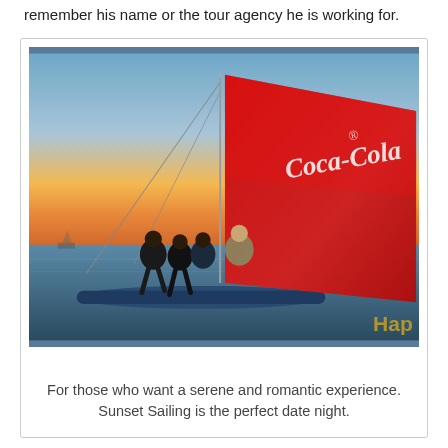remember his name or the tour agency he is working for.
[Figure (photo): A group of people sitting on the outrigger of a sailboat with a red Coca-Cola branded sail, on the ocean at sunset with warm golden sky in the background.]
For those who want a serene and romantic experience. Sunset Sailing is the perfect date night.